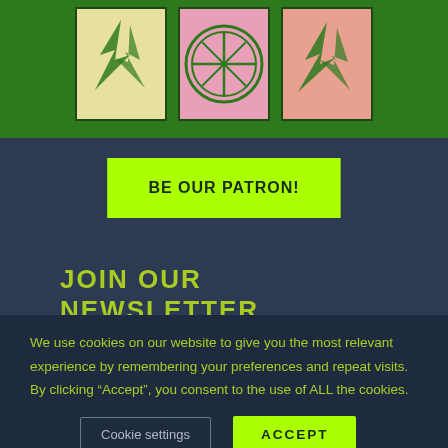[Figure (illustration): Three illustrated art panels on a dark green background showing stylized plant/nature motifs in cream, pink, and salmon colors with green outlines.]
BE OUR PATRON!
JOIN OUR NEWSLETTER
We use cookies on our website to give you the most relevant experience by remembering your preferences and repeat visits. By clicking “Accept”, you consent to the use of ALL the cookies.
Cookie settings
ACCEPT